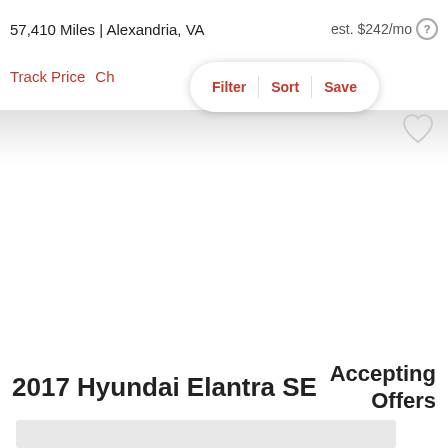57,410 Miles | Alexandria, VA
est. $242/mo
Track Price   Ch...   Filter   Sort   Save
[Figure (other): Heart/favorite icon outline]
2017 Hyundai Elantra SE
Accepting Offers
[Figure (photo): Car image placeholder (gray box, partially visible)]